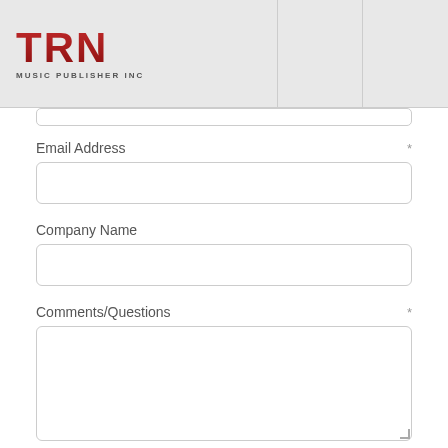TRN MUSIC PUBLISHER INC
Email Address *
Company Name
Comments/Questions *